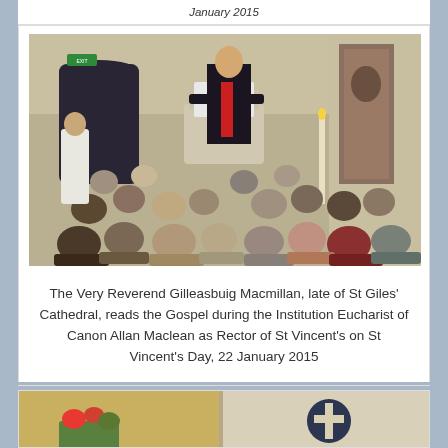January 2015
[Figure (photo): A clergyman in black robes with red accents reads from a lectern at a pulpit in a church, with a congregation of seated attendees visible from behind. Church interior with arched doorway and tapestry visible in background.]
The Very Reverend Gilleasbuig Macmillan, late of St Giles' Cathedral, reads the Gospel during the Institution Eucharist of Canon Allan Maclean as Rector of St Vincent's on St Vincent's Day, 22 January 2015
[Figure (photo): Interior of a church showing a cross emblem on the wall, partial view of an event or service.]